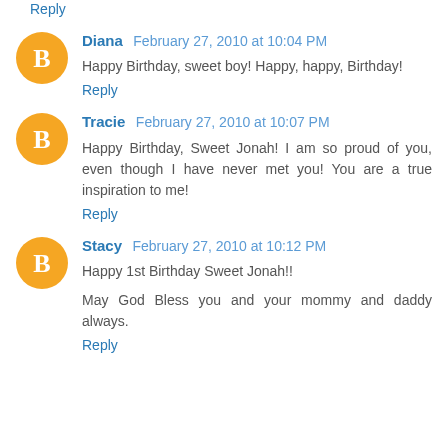Reply
Diana February 27, 2010 at 10:04 PM
Happy Birthday, sweet boy! Happy, happy, Birthday!
Reply
Tracie February 27, 2010 at 10:07 PM
Happy Birthday, Sweet Jonah! I am so proud of you, even though I have never met you! You are a true inspiration to me!
Reply
Stacy February 27, 2010 at 10:12 PM
Happy 1st Birthday Sweet Jonah!!
May God Bless you and your mommy and daddy always.
Reply